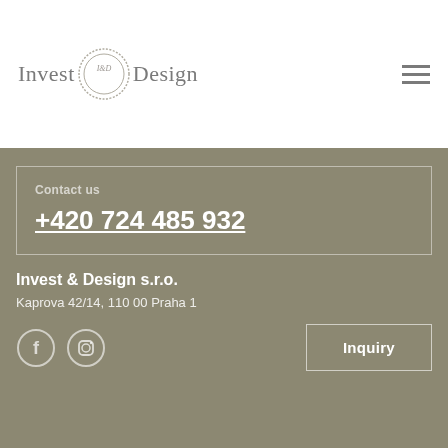[Figure (logo): Invest & Design logo with circular I&D emblem between the words Invest and Design in grey serif font, with hamburger menu icon on the right]
Contact us
+420 724 485 932
Invest & Design s.r.o.
Kaprova 42/14, 110 00 Praha 1
[Figure (illustration): Facebook circle icon and Instagram circle icon in grey outline style]
Inquiry